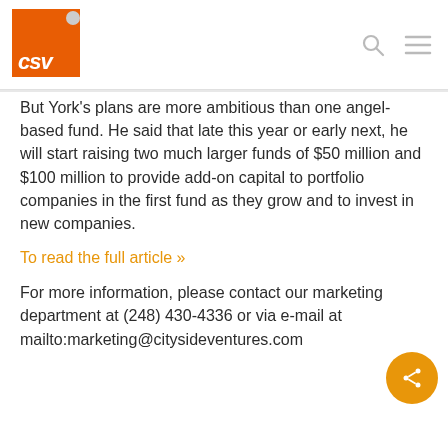CSV logo with navigation icons
But York's plans are more ambitious than one angel-based fund. He said that late this year or early next, he will start raising two much larger funds of $50 million and $100 million to provide add-on capital to portfolio companies in the first fund as they grow and to invest in new companies.
To read the full article »
For more information, please contact our marketing department at (248) 430-4336 or via e-mail at mailto:marketing@citysideventures.com